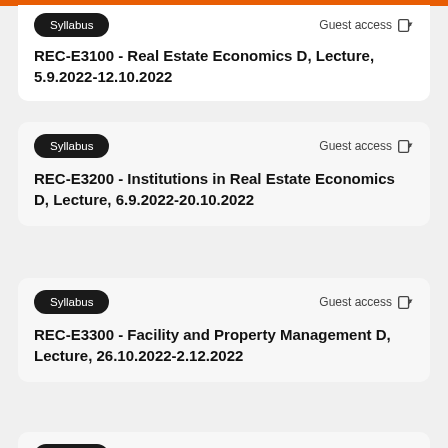REC-E3100 - Real Estate Economics D, Lecture, 5.9.2022-12.10.2022
Syllabus
Guest access
REC-E3200 - Institutions in Real Estate Economics D, Lecture, 6.9.2022-20.10.2022
Syllabus
Guest access
REC-E3300 - Facility and Property Management D, Lecture, 26.10.2022-2.12.2022
Syllabus
Guest access
Syllabus
Guest access